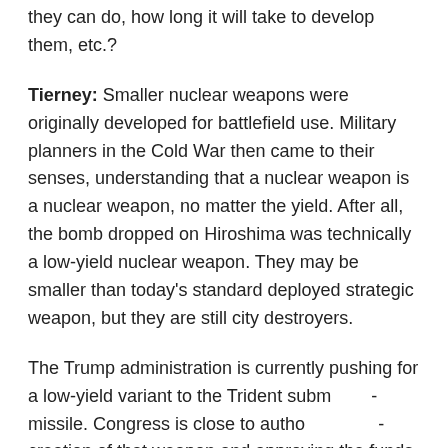they can do, how long it will take to develop them, etc.?
Tierney: Smaller nuclear weapons were originally developed for battlefield use. Military planners in the Cold War then came to their senses, understanding that a nuclear weapon is a nuclear weapon, no matter the yield. After all, the bomb dropped on Hiroshima was technically a low-yield nuclear weapon. They may be smaller than today's standard deployed strategic weapon, but they are still city destroyers.
The Trump administration is currently pushing for a low-yield variant to the Trident submarine missile. Congress is close to authorizing the creation of that weapon and approving the funds for it. The new warhead could be fitted on a missile within a couple years. There are considerable